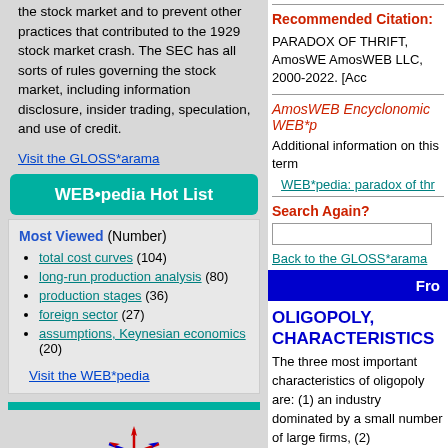the stock market and to prevent other practices that contributed to the 1929 stock market crash. The SEC has all sorts of rules governing the stock market, including information disclosure, insider trading, speculation, and use of credit.
Visit the GLOSS*arama
WEB•pedia Hot List
Most Viewed (Number)
total cost curves (104)
long-run production analysis (80)
production stages (36)
foreign sector (27)
assumptions, Keynesian economics (20)
Visit the WEB*pedia
Recommended Citation:
PARADOX OF THRIFT, AmosWEB AmosWEB LLC, 2000-2022. [Acc
AmosWEB Encyclonomic WEB*p
Additional information on this term
WEB*pedia: paradox of thr
Search Again?
Back to the GLOSS*arama
Fro
OLIGOPOLY, CHARACTERISTICS
The three most important characteristics of oligopoly are: (1) an industry dominated by a small number of large firms, (2)